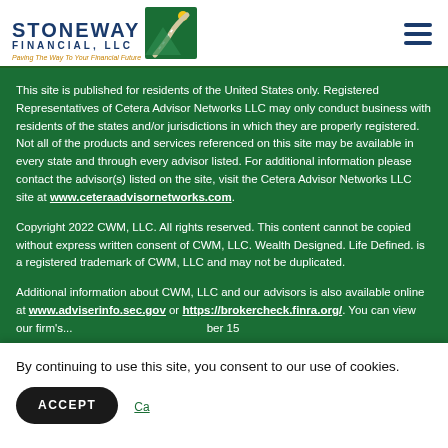[Figure (logo): Stoneway Financial LLC logo with green mountain/road icon and tagline 'Paving The Way To Your Financial Future']
This site is published for residents of the United States only. Registered Representatives of Cetera Advisor Networks LLC may only conduct business with residents of the states and/or jurisdictions in which they are properly registered. Not all of the products and services referenced on this site may be available in every state and through every advisor listed. For additional information please contact the advisor(s) listed on the site, visit the Cetera Advisor Networks LLC site at www.ceteraadvisornetworks.com.
Copyright 2022 CWM, LLC. All rights reserved. This content cannot be copied without express written consent of CWM, LLC. Wealth Designed. Life Defined. is a registered trademark of CWM, LLC and may not be duplicated.
Additional information about CWM, LLC and our advisors is also available online at www.adviserinfo.sec.gov or https://brokercheck.finra.org/. You can view our firm's information on this website by searching for CWM, LLC or by our CRD number 15...
By continuing to use this site, you consent to our use of cookies.
ACCEPT
Ca